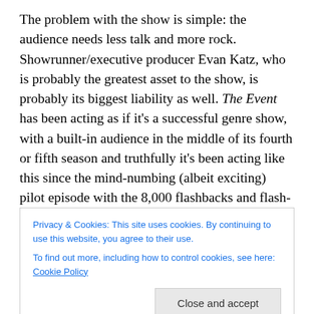The problem with the show is simple: the audience needs less talk and more rock. Showrunner/executive producer Evan Katz, who is probably the greatest asset to the show, is probably its biggest liability as well. The Event has been acting as if it's a successful genre show, with a built-in audience in the middle of its fourth or fifth season and truthfully it's been acting like this since the mind-numbing (albeit exciting) pilot episode with the 8,000 flashbacks and flash-forwards. The 'Tastic admits that as genre-geeks, we may have been a little bit more over-exuberant and a little less objective for The Event than we probably
Privacy & Cookies: This site uses cookies. By continuing to use this website, you agree to their use.
To find out more, including how to control cookies, see here: Cookie Policy
Close and accept
audience to jump ship immediately. Now, the flashbacks